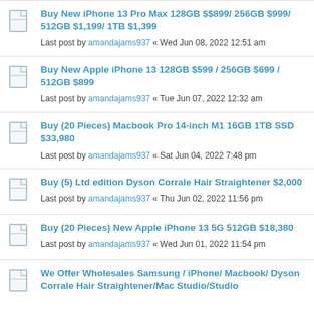Buy New iPhone 13 Pro Max 128GB $$899/ 256GB $999/ 512GB $1,199/ 1TB $1,399
Last post by amandajams937 « Wed Jun 08, 2022 12:51 am
Buy New Apple iPhone 13 128GB $599 / 256GB $699 / 512GB $899
Last post by amandajams937 « Tue Jun 07, 2022 12:32 am
Buy (20 Pieces) Macbook Pro 14-inch M1 16GB 1TB SSD $33,980
Last post by amandajams937 « Sat Jun 04, 2022 7:48 pm
Buy (5) Ltd edition Dyson Corrale Hair Straightener $2,000
Last post by amandajams937 « Thu Jun 02, 2022 11:56 pm
Buy (20 Pieces) New Apple iPhone 13 5G 512GB $18,380
Last post by amandajams937 « Wed Jun 01, 2022 11:54 pm
We Offer Wholesales Samsung / iPhone/ Macbook/ Dyson Corrale Hair Straightener/Mac Studio/Studio